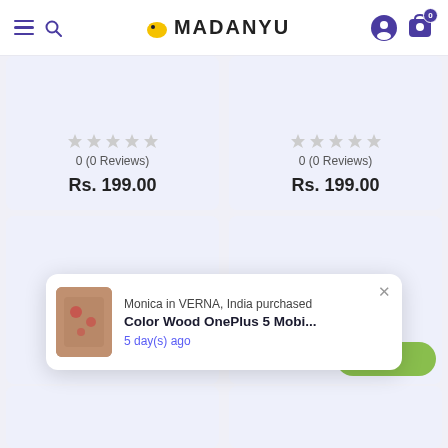MADANYU
0 (0 Reviews)
Rs. 199.00
0 (0 Reviews)
Rs. 199.00
[Figure (screenshot): Empty product card placeholder (left)]
[Figure (screenshot): Empty product card placeholder (right)]
[Figure (photo): Notification popup: Monica in VERNA, India purchased Color Wood OnePlus 5 Mobi... 5 day(s) ago, with product image thumbnail]
Monica in VERNA, India purchased
Color Wood OnePlus 5 Mobi...
5 day(s) ago